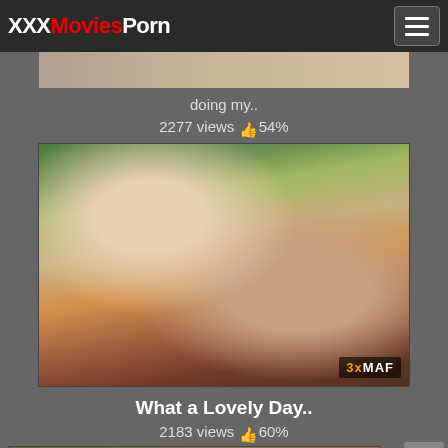XXXMoviesPorn
doing my..
2277 views 👍 54%
[Figure (photo): Outdoor pool scene with people]
What a Lovely Day..
2183 views 👍 60%
[Figure (photo): Partial thumbnail of another video at bottom]